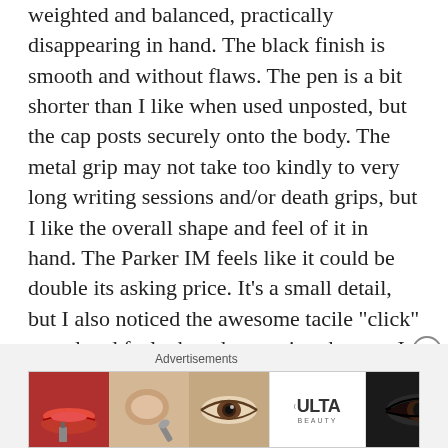weighted and balanced, practically disappearing in hand. The black finish is smooth and without flaws. The pen is a bit shorter than I like when used unposted, but the cap posts securely onto the body. The metal grip may not take too kindly to very long writing sessions and/or death grips, but I like the overall shape and feel of it in hand. The Parker IM feels like it could be double its asking price. It’s a small detail, but I also noticed the awesome tacile “click” sound and feel when the capping the pen. It adds to the overall experience, and little
Advertisements
[Figure (photo): ULTA Beauty advertisement banner with makeup-themed images: lips with red lipstick, makeup brush, eye with brown eyeshadow, ULTA logo in center, eye with dramatic makeup, and SHOP NOW call-to-action button]